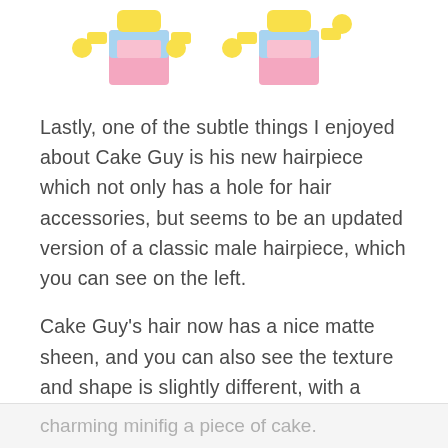[Figure (photo): Two LEGO minifigures (Cake Guy) shown side by side from the torso up, with yellow hands/arms and pink/blue torso details, on a white background. The tops of the figures are cropped at the top of the page.]
Lastly, one of the subtle things I enjoyed about Cake Guy is his new hairpiece which not only has a hole for hair accessories, but seems to be an updated version of a classic male hairpiece, which you can see on the left.
Cake Guy's hair now has a nice matte sheen, and you can also see the texture and shape is slightly different, with a wavy shape that looks much more natural.
I can't help but love Cake Guy. A fun accessory coupled with a great minifigure design, and a new super happy facial expression make falling in love with this charming minifig a piece of cake.